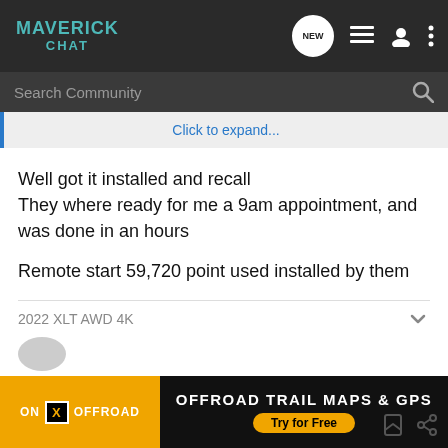MAVERICK CHAT
Click to expand...
Well got it installed and recall
They where ready for me a 9am appointment, and was done in an hours

Remote start 59,720 point used installed by them
2022 XLT AWD 4K
[Figure (screenshot): ON X OFFROAD advertisement banner: OFFROAD TRAIL MAPS & GPS, Try for Free]